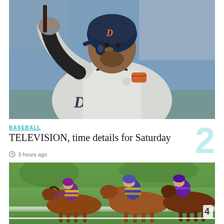[Figure (photo): Detroit Tigers baseball player in gray uniform holding a bat, wearing a navy helmet with orange D logo, raising his hand]
BASEBALL
TELEVISION, time details for Saturday
3 hours ago
[Figure (photo): Horse racing scene with jockeys in colorful purple and yellow silks racing on a green grass track]